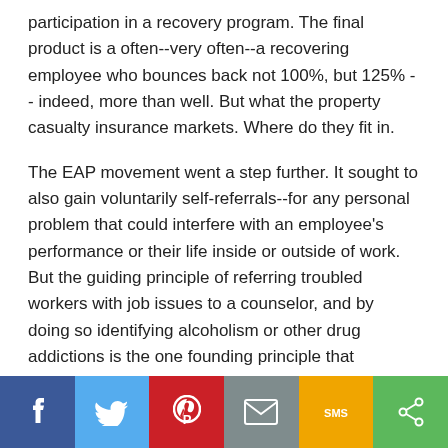participation in a recovery program. The final product is a often--very often--a recovering employee who bounces back not 100%, but 125% -- indeed, more than well. But what the property casualty insurance markets. Where do they fit in.
The EAP movement went a step further. It sought to also gain voluntarily self-referrals--for any personal problem that could interfere with an employee's performance or their life inside or outside of work. But the guiding principle of referring troubled workers with job issues to a counselor, and by doing so identifying alcoholism or other drug addictions is the one founding principle that propelled the entire modern EAP movement seen today.
[Figure (infographic): Social sharing bar with six colored buttons: Facebook (blue), Twitter (light blue), Pinterest (red), Email (grey), SMS (yellow/orange), Share (green), each with corresponding icon.]